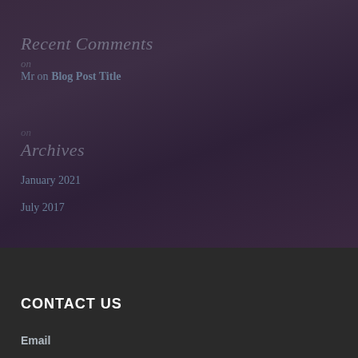Recent Comments
Mr on Blog Post Title
Archives
January 2021
July 2017
CONTACT US
Email